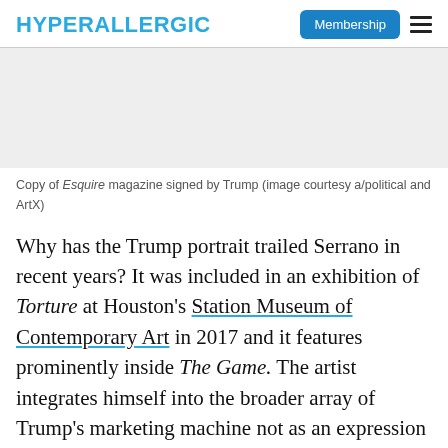HYPERALLERGIC | Membership
[Figure (photo): Image placeholder area for a copy of Esquire magazine signed by Trump]
Copy of Esquire magazine signed by Trump (image courtesy a/political and ArtX)
Why has the Trump portrait trailed Serrano in recent years? It was included in an exhibition of Torture at Houston's Station Museum of Contemporary Art in 2017 and it features prominently inside The Game. The artist integrates himself into the broader array of Trump's marketing machine not as an expression